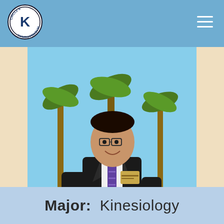Circle K International navigation bar with logo and hamburger menu
[Figure (photo): Young man in a black suit with a purple striped tie and name badge, smiling and holding a brown award plaque, standing outdoors with palm trees in the background.]
Major: Kinesiology